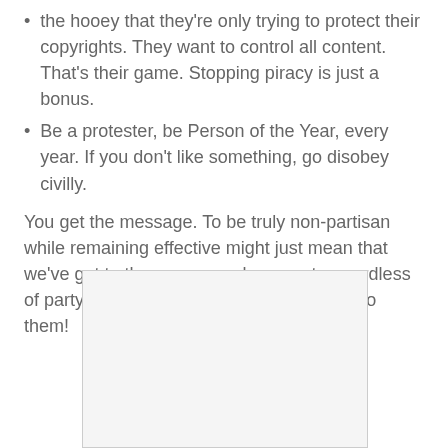the hooey that they're only trying to protect their copyrights. They want to control all content. That's their game. Stopping piracy is just a bonus.
Be a protester, be Person of the Year, every year. If you don't like something, go disobey civilly.
You get the message. To be truly non-partisan while remaining effective might just mean that we've got to throw our own bums out, regardless of party affiliation. It'll scare some sense into them!
[Figure (other): A white/light gray rectangular image placeholder with border]